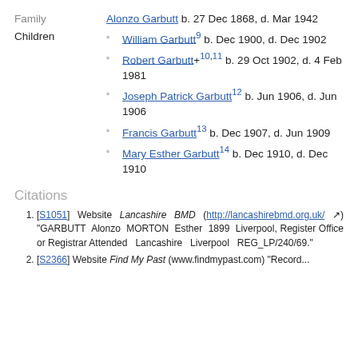Death Reg | December 1910 | Esther's death was registered in the December Quarter of 1910 in the Liverpool Registration District.[4]
Family: Alonzo Garbutt b. 27 Dec 1868, d. Mar 1942
Children
William Garbutt[9] b. Dec 1900, d. Dec 1902
Robert Garbutt+[10,11] b. 29 Oct 1902, d. 4 Feb 1981
Joseph Patrick Garbutt[12] b. Jun 1906, d. Jun 1906
Francis Garbutt[13] b. Dec 1907, d. Jun 1909
Mary Esther Garbutt[14] b. Dec 1910, d. Dec 1910
Citations
[S1051] Website Lancashire BMD (http://lancashirebmd.org.uk/) "GARBUTT Alonzo MORTON Esther 1899 Liverpool, Register Office or Registrar Attended Lancashire Liverpool REG_LP/240/69."
[S2366] Website Find My Past (www.findmypast.com) "Record...